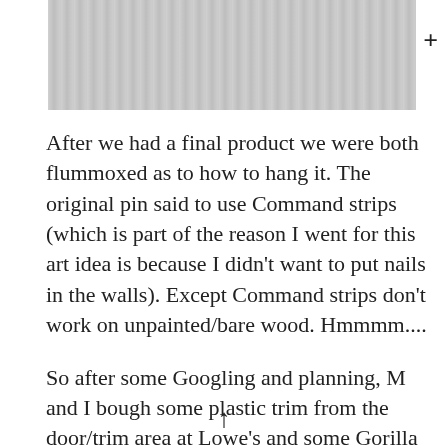[Figure (photo): Close-up photo of white/grey vertical wood paneling or siding strips]
After we had a final product we were both flummoxed as to how to hang it. The original pin said to use Command strips (which is part of the reason I went for this art idea is because I didn't want to put nails in the walls). Except Command strips don't work on unpainted/bare wood. Hmmmm....
So after some Googling and planning, M and I bough some plastic trim from the door/trim area at Lowe's and some Gorilla Glue. M cut the trim to fit about the size of th...